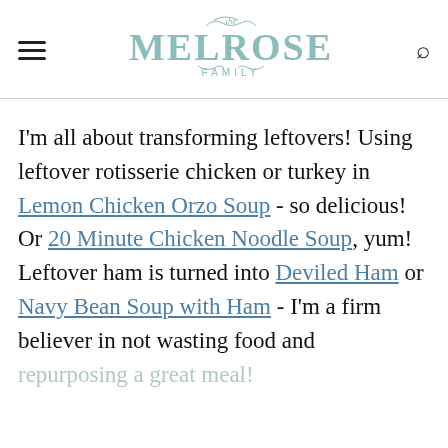The Melrose Family
I'm all about transforming leftovers! Using leftover rotisserie chicken or turkey in Lemon Chicken Orzo Soup - so delicious! Or 20 Minute Chicken Noodle Soup, yum!  Leftover ham is turned into Deviled Ham or Navy Bean Soup with Ham - I'm a firm believer in not wasting food and repurposing a great meal!